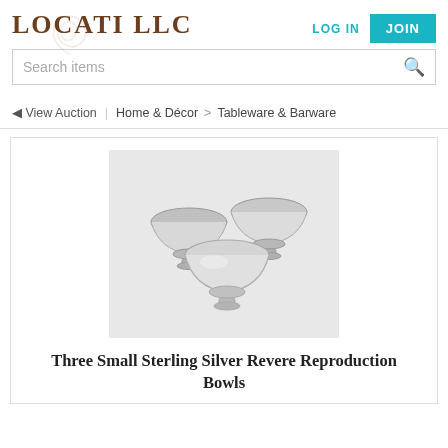LOCATI LLC
LOG IN
JOIN
Search items
◄ View Auction | Home & Décor > Tableware & Barware
[Figure (photo): Three small sterling silver Revere reproduction bowls arranged together on a white background]
Three Small Sterling Silver Revere Reproduction Bowls